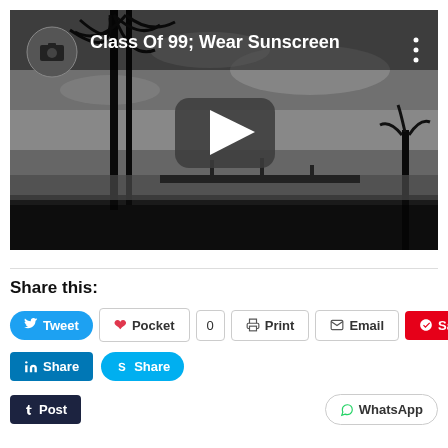[Figure (screenshot): YouTube video thumbnail showing a black and white beach scene with palm trees and a play button overlay. Video title: 'Class Of 99; Wear Sunscreen'. Channel avatar in top left, three-dot menu in top right.]
Share this:
[Figure (infographic): Social sharing buttons row 1: Tweet (blue), Pocket (white with count 0), Print (white), Email (white), Save (red Pinterest)]
[Figure (infographic): Social sharing buttons row 2: LinkedIn Share (blue), Skype Share (cyan)]
[Figure (infographic): Social sharing buttons row 3: Tumblr Post (dark), WhatsApp (white, right-aligned)]